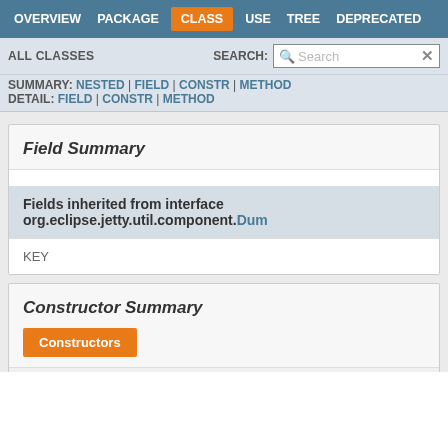OVERVIEW | PACKAGE | CLASS | USE | TREE | DEPRECATED
ALL CLASSES  SEARCH:
SUMMARY: NESTED | FIELD | CONSTR | METHOD  DETAIL: FIELD | CONSTR | METHOD
Field Summary
| Fields inherited from interface org.eclipse.jetty.util.component.Dum |
| KEY |
Constructor Summary
| Constructors |
| --- |